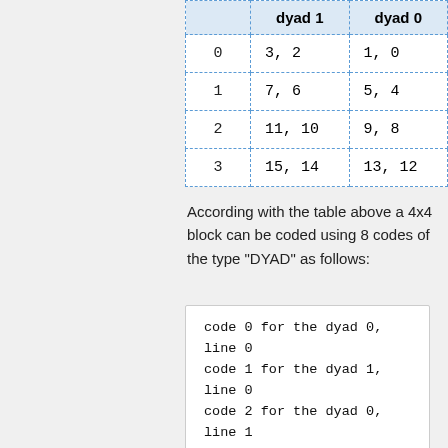|  | dyad 1 | dyad 0 |
| --- | --- | --- |
| 0 | 3, 2 | 1, 0 |
| 1 | 7, 6 | 5, 4 |
| 2 | 11, 10 | 9, 8 |
| 3 | 15, 14 | 13, 12 |
According with the table above a 4x4 block can be coded using 8 codes of the type "DYAD" as follows:
code 0 for the dyad 0,
line 0
code 1 for the dyad 1,
line 0
code 2 for the dyad 0,
line 1
code 3 for the dyad 1,
line 1
code 4 for the dyad 0,
line 2
code 5 for the dyad 1,